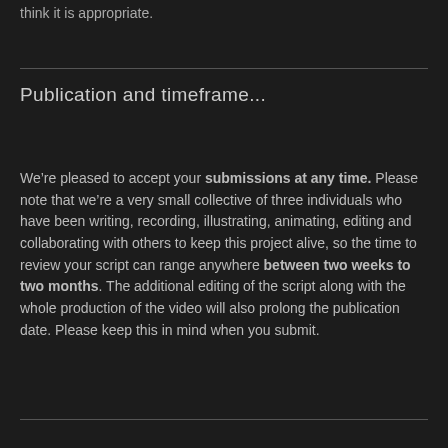think it is appropriate.
Publication and timeframe...
We’re pleased to accept your submissions at any time. Please note that we’re a very small collective of three individuals who have been writing, recording, illustrating, animating, editing and collaborating with others to keep this project alive, so the time to review your script can range anywhere between two weeks to two months. The additional editing of the script along with the whole production of the video will also prolong the publication date. Please keep this in mind when you submit.